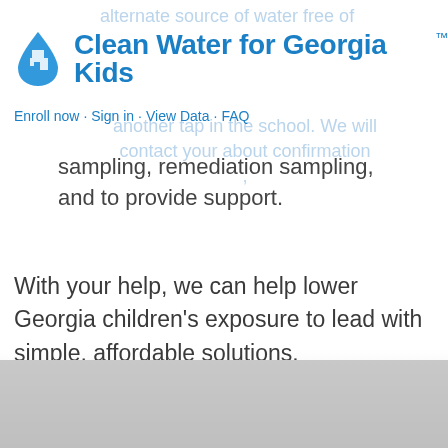Clean Water for Georgia Kids™
alternate source of water free of another tap in the school. We will contact your about confirmation ,
Enroll now · Sign in · View Data · FAQ
sampling, remediation sampling, and to provide support.
With your help, we can help lower Georgia children's exposure to lead with simple, affordable solutions.